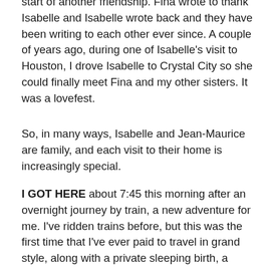start of another friendship. Fina wrote to thank Isabelle and Isabelle wrote back and they have been writing to each other ever since. A couple of years ago, during one of Isabelle's visit to Houston, I drove Isabelle to Crystal City so she could finally meet Fina and my other sisters. It was a lovefest.
So, in many ways, Isabelle and Jean-Maurice are family, and each visit to their home is increasingly special.
I GOT HERE about 7:45 this morning after an overnight journey by train, a new adventure for me. I've ridden trains before, but this was the first time that I've ever paid to travel in grand style, along with a private sleeping birth, a shower, a full dinner and breakfast in the dining car, etc. We left Barcelona around 7:40 last night. My initial itinerary called for me to get off in Geneva and then take a